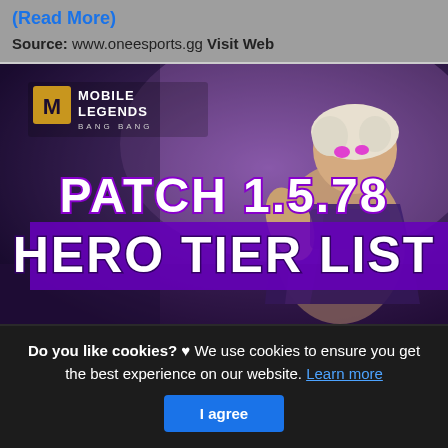(Read More)
Source: www.oneesports.gg Visit Web
[Figure (photo): Mobile Legends Bang Bang game thumbnail showing a muscular white-haired character with glowing pink eyes, wearing purple armor. Text overlaid: 'PATCH 1.5.78' and 'HERO TIER LIST' in large white/yellow stylized font on purple background. Mobile Legends logo visible in top-left corner.]
Tier List Mobile Legends Patch 1 5 70 Terbaru Siapa Di
Do you like cookies? ♥ We use cookies to ensure you get the best experience on our website. Learn more
I agree